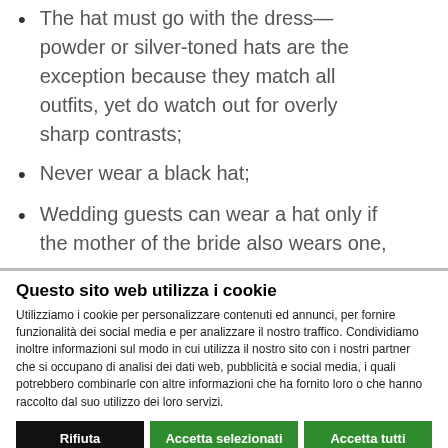The hat must go with the dress—powder or silver-toned hats are the exception because they match all outfits, yet do watch out for overly sharp contrasts;
Never wear a black hat;
Wedding guests can wear a hat only if the mother of the bride also wears one,
Questo sito web utilizza i cookie
Utilizziamo i cookie per personalizzare contenuti ed annunci, per fornire funzionalità dei social media e per analizzare il nostro traffico. Condividiamo inoltre informazioni sul modo in cui utilizza il nostro sito con i nostri partner che si occupano di analisi dei dati web, pubblicità e social media, i quali potrebbero combinarle con altre informazioni che ha fornito loro o che hanno raccolto dal suo utilizzo dei loro servizi.